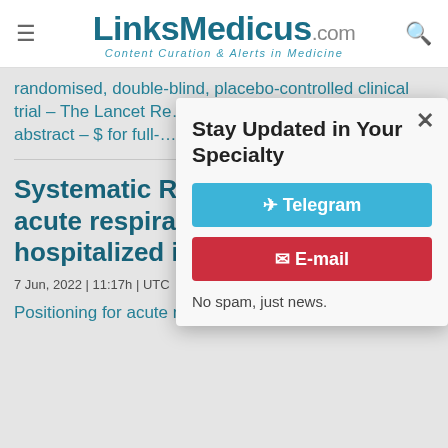LinksMedicus.com — Content Curation & Alerts in Medicine
randomised, double-blind, placebo-controlled clinical trial – The Lancet Re… abstract – $ for full-t…
Systematic Re… acute respirato… hospitalized infants and children.
7 Jun, 2022 | 11:17h | UTC
Positioning for acute respiratory distress in
[Figure (screenshot): Modal popup: Stay Updated in Your Specialty. Buttons: Telegram (blue), E-mail (red). Note: No spam, just news. Close (×) button top right.]